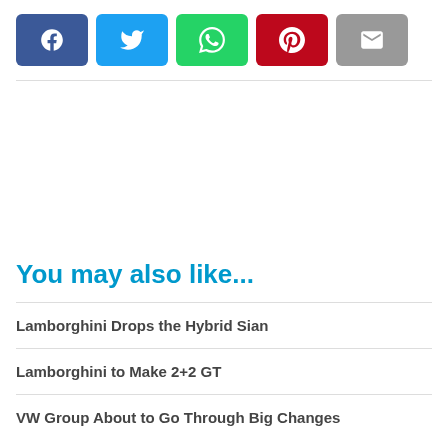[Figure (infographic): Social share buttons row: Facebook (dark blue), Twitter (light blue), WhatsApp (green), Pinterest (red), Email (grey)]
You may also like...
Lamborghini Drops the Hybrid Sian
Lamborghini to Make 2+2 GT
VW Group About to Go Through Big Changes